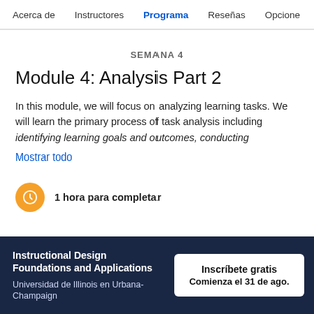Acerca de   Instructores   Programa   Reseñas   Opcione
SEMANA 4
Module 4: Analysis Part 2
In this module, we will focus on analyzing learning tasks. We will learn the primary process of task analysis including identifying learning goals and outcomes, conducting
Mostrar todo
1 hora para completar
Instructional Design Foundations and Applications
Universidad de Illinois en Urbana-Champaign
Inscríbete gratis
Comienza el 31 de ago.